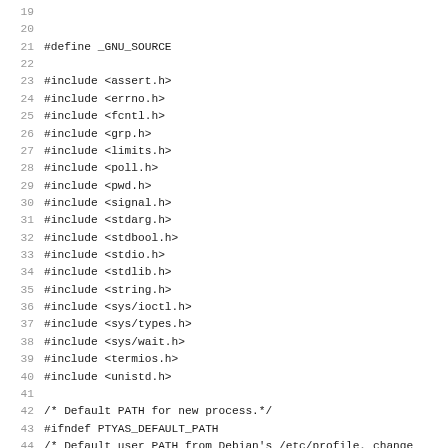Source code listing lines 19-51, showing C preprocessor directives and include statements for a terminal/pty utility program.